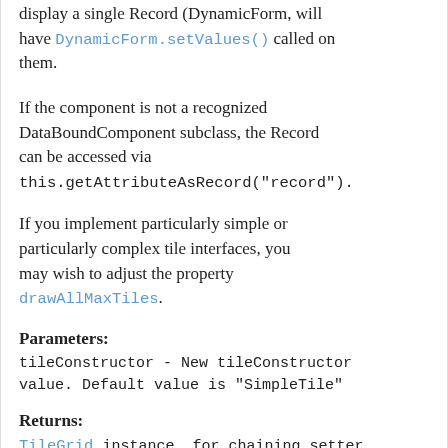display a single Record (DynamicForm, will have DynamicForm.setValues() called on them.
If the component is not a recognized DataBoundComponent subclass, the Record can be accessed via this.getAttributeAsRecord("record").
If you implement particularly simple or particularly complex tile interfaces, you may wish to adjust the property drawAllMaxTiles.
Parameters:
tileConstructor - New tileConstructor value. Default value is "SimpleTile"
Returns:
TileGrid instance, for chaining setter calls
See Also: